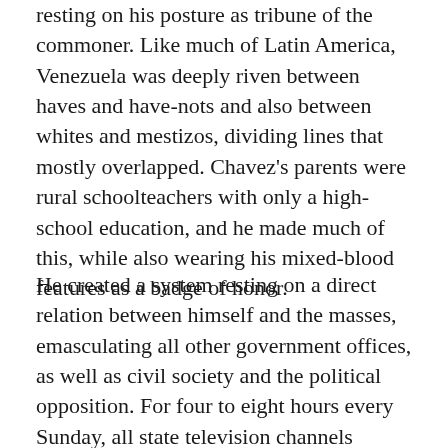resting on his posture as tribune of the commoner. Like much of Latin America, Venezuela was deeply riven between haves and have-nots and also between whites and mestizos, dividing lines that mostly overlapped. Chavez's parents were rural schoolteachers with only a high-school education, and he made much of this, while also wearing his mixed-blood features as a badge of honor.
He created a system resting on a direct relation between himself and the masses, emasculating all other government offices, as well as civil society and the political opposition. For four to eight hours every Sunday, all state television channels broadcast Aló Presidente, a stream of consciousness in which Chavez lectured, sang,